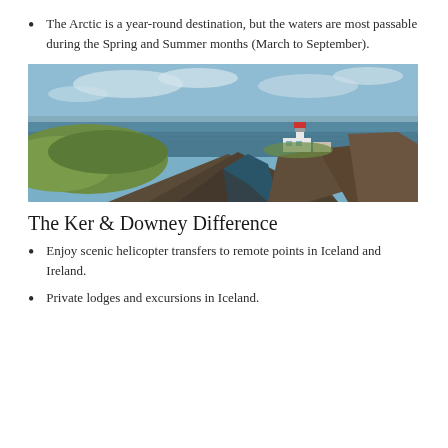The Arctic is a year-round destination, but the waters are most passable during the Spring and Summer months (March to September).
[Figure (photo): Coastal landscape with dramatic rocky cliffs, green grass, a narrow sea inlet, and a white lighthouse on a promontory under a partly cloudy sky.]
The Ker & Downey Difference
Enjoy scenic helicopter transfers to remote points in Iceland and Ireland.
Private lodges and excursions in Iceland.